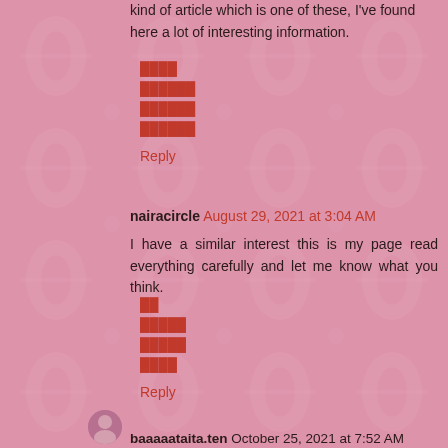kind of article which is one of these, I've found here a lot of interesting information.
████
██████
██████
██████
Reply
nairacircle August 29, 2021 at 3:04 AM
I have a similar interest this is my page read everything carefully and let me know what you think.
██
█████
█████
████
Reply
baaaaataita.ten October 25, 2021 at 7:52 AM